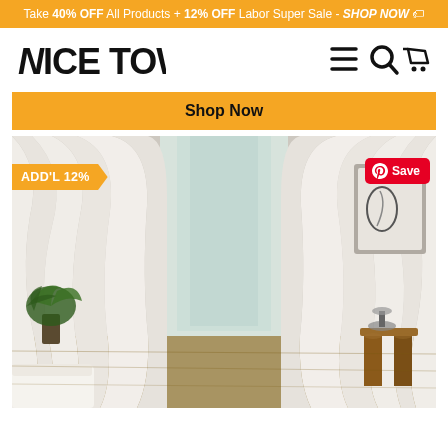Take 40% OFF All Products + 12% OFF Labor Super Sale - SHOP NOW 🏷
[Figure (logo): NICETOWN logo in bold black text with italic N]
[Figure (infographic): Navigation icons: hamburger menu, search, and shopping cart]
Shop Now
[Figure (photo): White curtains hanging in a bright living room with plants, framed artwork, a wooden side table with a lamp, and a white bed or sofa. Badge: ADD'L 12% in orange. Pinterest Save button in red top right.]